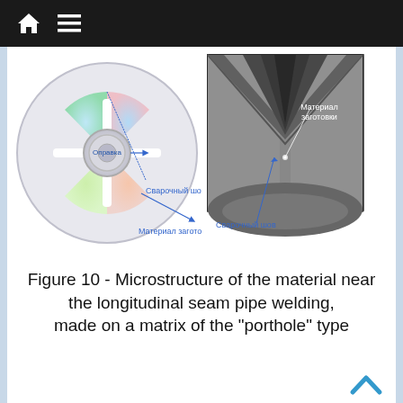[Figure (engineering-diagram): Cross-sectional diagram of a porthole-type die with a central mandrel (Оправка) and four colored segments, annotated with labels: Оправка (center), Сварочный шов (weld seam), Материал заготовки (billet material). A micrograph (grayscale) shows the microstructure near the longitudinal weld seam, with labels Материал заготовки and Сварочный шов.]
Figure 10 - Microstructure of the material near the longitudinal seam pipe welding, made on a matrix of the "porthole" type